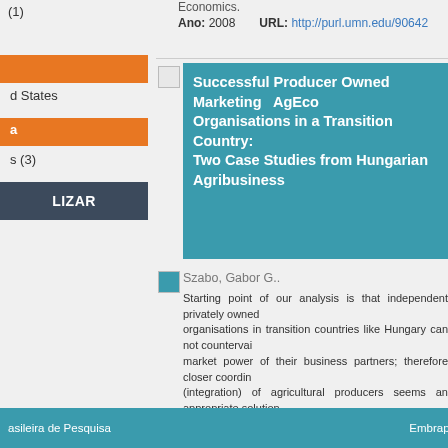(1)
d States
s (3)
LIZAR
Economics.
Ano: 2008   URL: http://purl.umn.edu/90642
Successful Producer Owned Marketing Organisations in a Transition Country: Two Case Studies from Hungarian Agribusiness
Szabo, Gabor G..
Starting point of our analysis is that independent privately owned organisations in transition countries like Hungary can not countervail market power of their business partners; therefore closer coordination (integration) of agricultural producers seems an appropriate solution. from some theoretical considerations on co-operative rationale (based New Institutional Economics), the main aim of the paper is present case studies on producer owned marketing organisations from Hung agribusiness, one from the fruit and vegetable sector and the othe from the dairy chain. Conclusions from case studies are the follow Such producers' organisations, like the Mórakert Co-operative and A Milk Selling and Supplying Ltd. can be...
Tipo: Conference Paper or Presentation   Palavras-chave: Co-operation; Co-operative; Producer owned organisation; Trust; Management; Vertical co-ordination.; Agricultural and Food P
Ano: 2009   URL: http://purl.umn.edu/58143
Registros recuperados: 3   Primeira ... 1 ... Ú